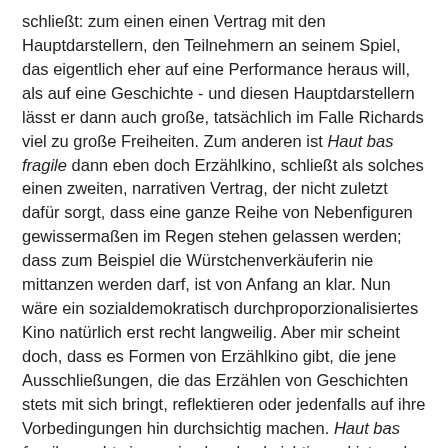schließt: zum einen einen Vertrag mit den Hauptdarstellern, den Teilnehmern an seinem Spiel, das eigentlich eher auf eine Performance heraus will, als auf eine Geschichte - und diesen Hauptdarstellern lässt er dann auch große, tatsächlich im Falle Richards viel zu große Freiheiten. Zum anderen ist Haut bas fragile dann eben doch Erzählkino, schließt als solches einen zweiten, narrativen Vertrag, der nicht zuletzt dafür sorgt, dass eine ganze Reihe von Nebenfiguren gewissermaßen im Regen stehen gelassen werden; dass zum Beispiel die Würstchenverkäuferin nie mittanzen werden darf, ist von Anfang an klar. Nun wäre ein sozialdemokratisch durchproporzionalisiertes Kino natürlich erst recht langweilig. Aber mir scheint doch, dass es Formen von Erzählkino gibt, die jene Ausschließungen, die das Erzählen von Geschichten stets mit sich bringt, reflektieren oder jedenfalls auf ihre Vorbedingungen hin durchsichtig machen. Haut bas fragile macht sie maximal undurchsichtig und ist auch noch stolz darauf.
Zuletzt zum Spiel selbst. Dass es in Rivettes Filmen keine Individuen im starken Sinne mehr gibt, keinen Subjektkern, deshalb auch keine Sicherheiten; dass es statt dessen nur